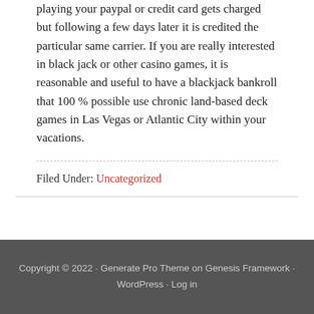playing your paypal or credit card gets charged but following a few days later it is credited the particular same carrier. If you are really interested in black jack or other casino games, it is reasonable and useful to have a blackjack bankroll that 100 % possible use chronic land-based deck games in Las Vegas or Atlantic City within your vacations.
Filed Under: Uncategorized
Copyright © 2022 · Generate Pro Theme on Genesis Framework · WordPress · Log in